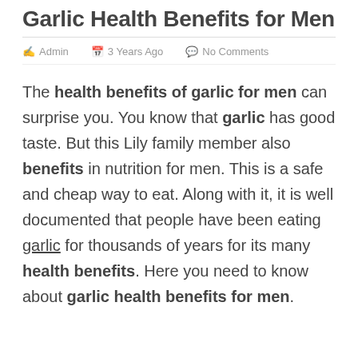Garlic Health Benefits for Men
Admin   3 Years Ago   No Comments
The health benefits of garlic for men can surprise you. You know that garlic has good taste. But this Lily family member also benefits in nutrition for men. This is a safe and cheap way to eat. Along with it, it is well documented that people have been eating garlic for thousands of years for its many health benefits. Here you need to know about garlic health benefits for men.